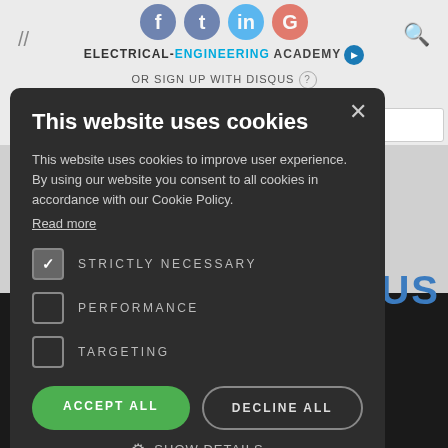ELECTRICAL-ENGINEERING ACADEMY | OR SIGN UP WITH DISQUS
[Figure (screenshot): Cookie consent modal overlay on the Electrical Engineering Academy website. The modal has a dark background and contains a title 'This website uses cookies', descriptive text, checkboxes for STRICTLY NECESSARY (checked), PERFORMANCE (unchecked), TARGETING (unchecked), and buttons for ACCEPT ALL and DECLINE ALL, plus a SHOW DETAILS option.]
This website uses cookies
This website uses cookies to improve user experience. By using our website you consent to all cookies in accordance with our Cookie Policy.
Read more
STRICTLY NECESSARY
PERFORMANCE
TARGETING
ACCEPT ALL
DECLINE ALL
SHOW DETAILS